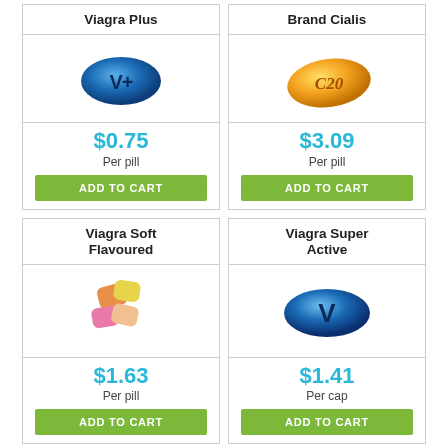Viagra Plus
[Figure (illustration): Blue oval pill with V+ text]
$0.75
Per pill
ADD TO CART
Brand Cialis
[Figure (illustration): Orange oval pill with C20 text]
$3.09
Per pill
ADD TO CART
Viagra Soft Flavoured
[Figure (illustration): Colorful soft chewable pills]
$1.63
Per pill
ADD TO CART
Viagra Super Active
[Figure (illustration): Blue oval pill with V text]
$1.41
Per cap
ADD TO CART